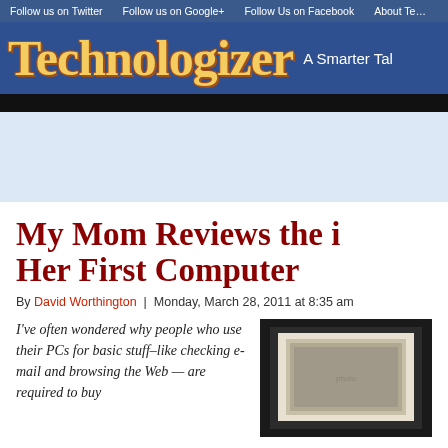Follow us on Twitter | Follow us on Google+ | Follow Us on Facebook | About Te…
Technologizer A Smarter Ta…
My Mom Reviews the i… Her First Computer
By David Worthington | Monday, March 28, 2011 at 8:35 am
I've often wondered why people who use their PCs for basic stuff–like checking e-mail and browsing the Web — are required to buy
[Figure (photo): A framed picture hanging on a dark wall, partially visible on the right side of the page.]